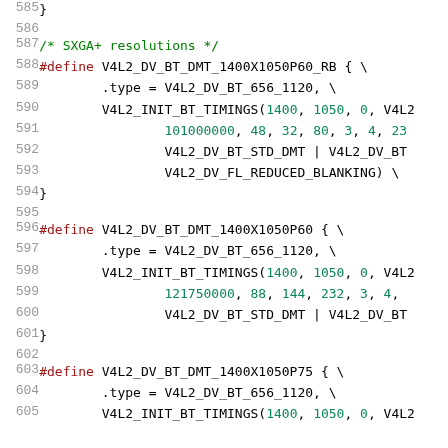585  }
586  
587  /* SXGA+ resolutions */
588  #define V4L2_DV_BT_DMT_1400X1050P60_RB { \
589          .type = V4L2_DV_BT_656_1120, \
590          V4L2_INIT_BT_TIMINGS(1400, 1050, 0, V4L2...
591                  101000000, 48, 32, 80, 3, 4, 23...
592                  V4L2_DV_BT_STD_DMT | V4L2_DV_BT...
593                  V4L2_DV_FL_REDUCED_BLANKING) \
594  }
595  
596  #define V4L2_DV_BT_DMT_1400X1050P60 { \
597          .type = V4L2_DV_BT_656_1120, \
598          V4L2_INIT_BT_TIMINGS(1400, 1050, 0, V4L2...
599                  121750000, 88, 144, 232, 3, 4,...
600                  V4L2_DV_BT_STD_DMT | V4L2_DV_BT...
601  }
602  
603  #define V4L2_DV_BT_DMT_1400X1050P75 { \
604          .type = V4L2_DV_BT_656_1120, \
605          V4L2_INIT_BT_TIMINGS(1400, 1050, 0, V4L2...